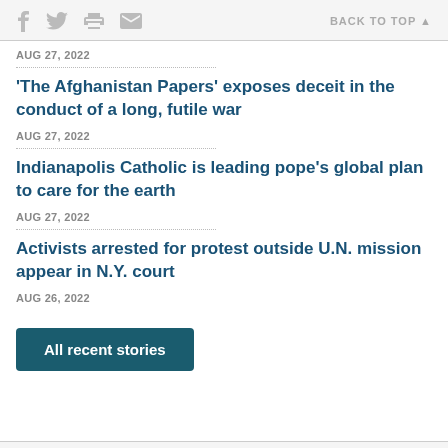f [twitter] [print] [mail] BACK TO TOP ▲
AUG 27, 2022
'The Afghanistan Papers' exposes deceit in the conduct of a long, futile war
AUG 27, 2022
Indianapolis Catholic is leading pope's global plan to care for the earth
AUG 27, 2022
Activists arrested for protest outside U.N. mission appear in N.Y. court
AUG 26, 2022
All recent stories